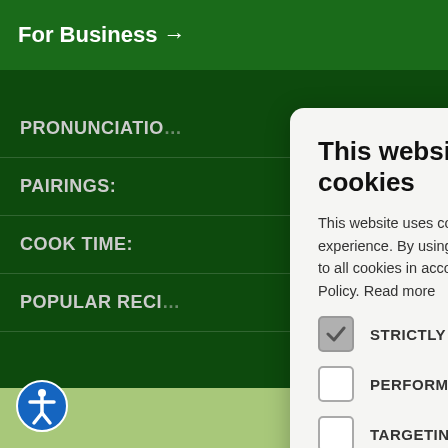For Business →
PRONUNCIATIO…
PAIRINGS:
COOK TIME:
POPULAR RECI…
This website uses cookies
This website uses cookies to improve user experience. By using our website you consent to all cookies in accordance with our Cookie Policy. Read more
STRICTLY NECESSARY (checked)
PERFORMANCE (unchecked)
TARGETING (unchecked)
FUNCTIONALITY (unchecked)
ACCEPT ALL | DECLINE ALL
SHOW DETAILS